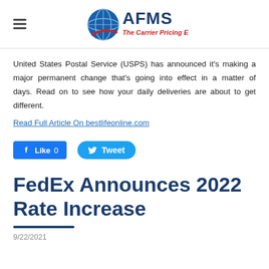[Figure (logo): AFMS logo — globe icon with AFMS text and 'The Carrier Pricing Experts' tagline]
United States Postal Service (USPS) has announced it's making a major permanent change that's going into effect in a matter of days. Read on to see how your daily deliveries are about to get different.
Read Full Article On bestlifeonline.com
[Figure (other): Facebook Like 0 button and Twitter Tweet button]
FedEx Announces 2022 Rate Increase
9/22/2021